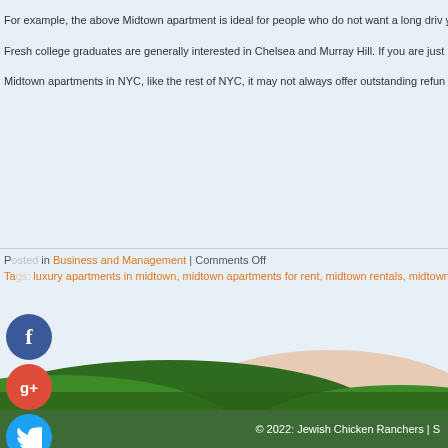For example, the above Midtown apartment is ideal for people who do not want a long drive to your office, the area above 42nd Street is the best option. But, if you're just out of college and choose to Lower Midtown.
Fresh college graduates are generally interested in Chelsea and Murray Hill. If you are just k need not worry. Midtown houses many musicians and artists who are struggling. Therefore, a
Midtown apartments in NYC, like the rest of NYC, it may not always offer outstanding refund the demand is much more than the supply. Therefore, it is foolish to have unrealistic expecta
Posted in Business and Management | Comments Off
Tags: luxury apartments in midtown, midtown apartments for rent, midtown rentals, midtown
[Figure (illustration): Rolling green hills landscape with a peach/tan hill in the background, decorative illustration]
© 2022: Jewish Chicken Ranchers | S